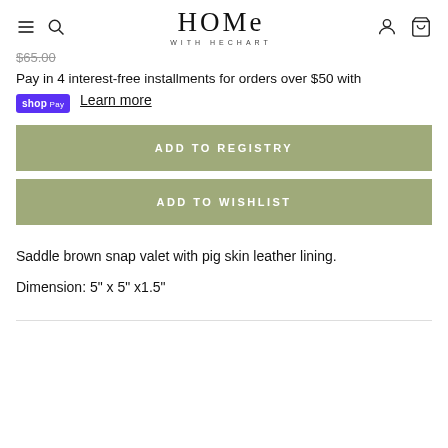HOME WITH HECHART
$65.00
Pay in 4 interest-free installments for orders over $50 with shop Pay Learn more
ADD TO REGISTRY
ADD TO WISHLIST
Saddle brown snap valet with pig skin leather lining.
Dimension: 5" x 5" x1.5"